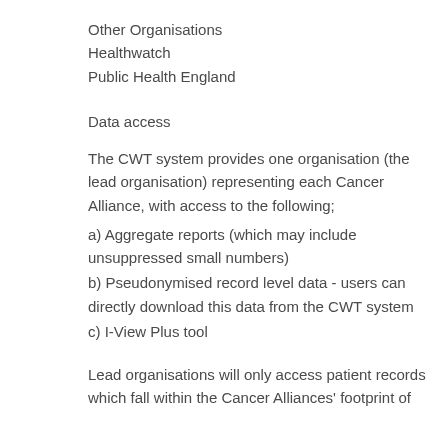Other Organisations
Healthwatch
Public Health England
Data access
The CWT system provides one organisation (the lead organisation) representing each Cancer Alliance, with access to the following;
a) Aggregate reports (which may include unsuppressed small numbers)
b) Pseudonymised record level data - users can directly download this data from the CWT system
c) I-View Plus tool
Lead organisations will only access patient records which fall within the Cancer Alliances' footprint of